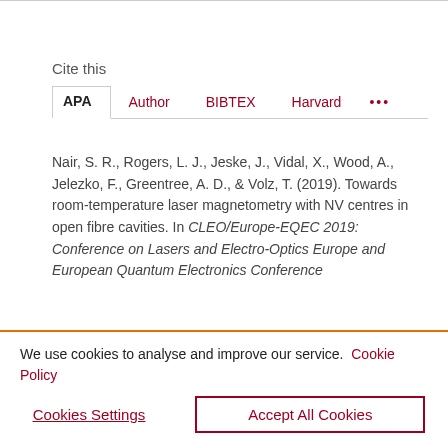Cite this
APA  Author  BIBTEX  Harvard  •••
Nair, S. R., Rogers, L. J., Jeske, J., Vidal, X., Wood, A., Jelezko, F., Greentree, A. D., & Volz, T. (2019). Towards room-temperature laser magnetometry with NV centres in open fibre cavities. In CLEO/Europe-EQEC 2019: Conference on Lasers and Electro-Optics Europe and European Quantum Electronics Conference
We use cookies to analyse and improve our service. Cookie Policy
Cookies Settings   Accept All Cookies